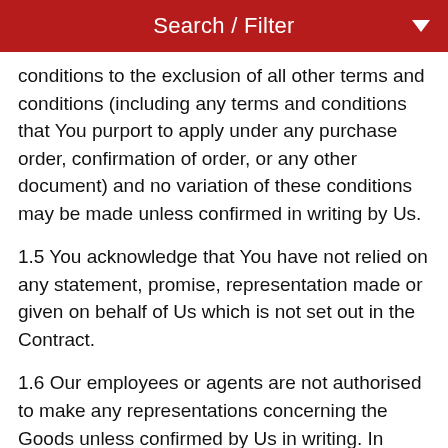Search / Filter
conditions to the exclusion of all other terms and conditions (including any terms and conditions that You purport to apply under any purchase order, confirmation of order, or any other document) and no variation of these conditions may be made unless confirmed in writing by Us.
1.5 You acknowledge that You have not relied on any statement, promise, representation made or given on behalf of Us which is not set out in the Contract.
1.6 Our employees or agents are not authorised to make any representations concerning the Goods unless confirmed by Us in writing. In entering into the Contract You acknowledge that You have not relied on, and therefore waive any claim for breach of Contract, any such representations which are not so confirmed.